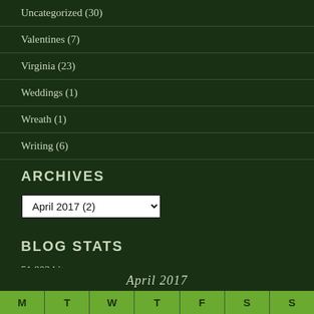Uncategorized (30)
Valentines (7)
Virginia (23)
Weddings (1)
Wreath (1)
Writing (6)
ARCHIVES
April 2017  (2)
BLOG STATS
51,803 hits
April 2017
| M | T | W | T | F | S | S |
| --- | --- | --- | --- | --- | --- | --- |